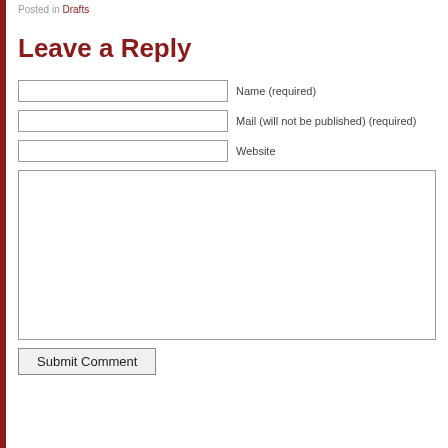Posted in Drafts
Leave a Reply
Name (required)
Mail (will not be published) (required)
Website
Submit Comment